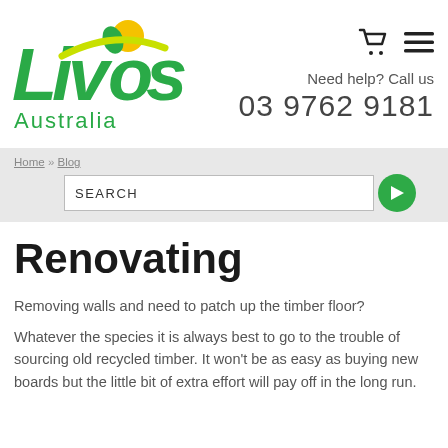[Figure (logo): Livos Australia logo — green stylized letters with a yellow sun, and 'Australia' in green below]
Need help? Call us
03 9762 9181
Home » Blog
Renovating
Removing walls and need to patch up the timber floor?
Whatever the species it is always best to go to the trouble of sourcing old recycled timber. It won't be as easy as buying new boards but the little bit of extra effort will pay off in the long run.